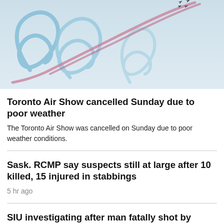[Figure (photo): Aerial display jets performing aerobatic maneuvers with coloured smoke trails (red/pink and blue) against a light blue sky, viewed from below.]
Toronto Air Show cancelled Sunday due to poor weather
The Toronto Air Show was cancelled on Sunday due to poor weather conditions.
Sask. RCMP say suspects still at large after 10 killed, 15 injured in stabbings
5 hr ago
SIU investigating after man fatally shot by